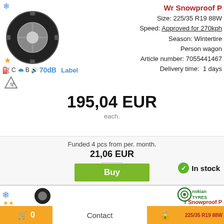[Figure (photo): Winter tire product image with snowflake icon and star rating]
C  B  70dB
Label
[Figure (illustration): Warning/hazard triangle icon]
Wr Snowproof P
Size: 225/35 R19 88W
Speed: Approved for 270kph
Season: Wintertire
Person wagon
Article number: 7055441467
Delivery time: 1 days
195,04 EUR
each.
Funded 4 pcs from per. month.
21,06 EUR
4
In stock
Buy
[Figure (photo): Second tire listing with Nokian Tyres logo, partial view]
Wr Snowproof P
225/35 R19 88W
0  Contact